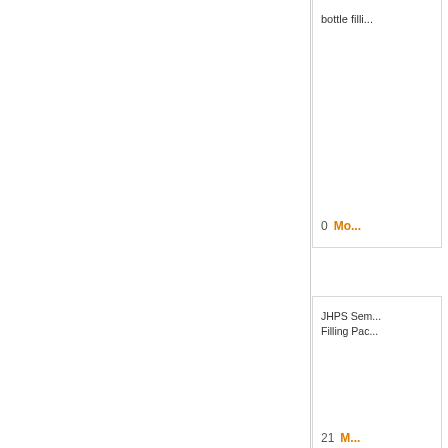bottle filli...
0   Mo...
JHPS Sem...
Filling Pac...
21   M...